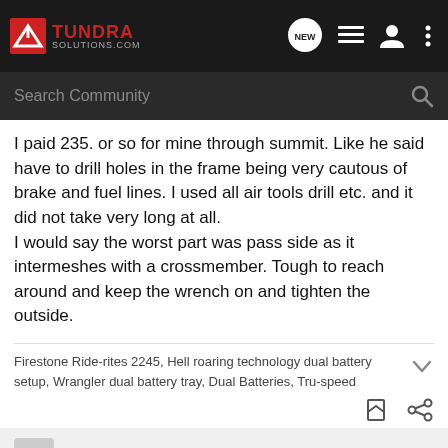TUNDRA SOLUTIONS.COM
Search Community
I paid 235. or so for mine through summit. Like he said have to drill holes in the frame being very cautous of brake and fuel lines. I used all air tools drill etc. and it did not take very long at all.
I would say the worst part was pass side as it intermeshes with a crossmember. Tough to reach around and keep the wrench on and tighten the outside.
Firestone Ride-rites 2245, Hell roaring technology dual battery setup, Wrangler dual battery tray, Dual Batteries, Tru-speed
Pro Comp Explorer LCG Suspension